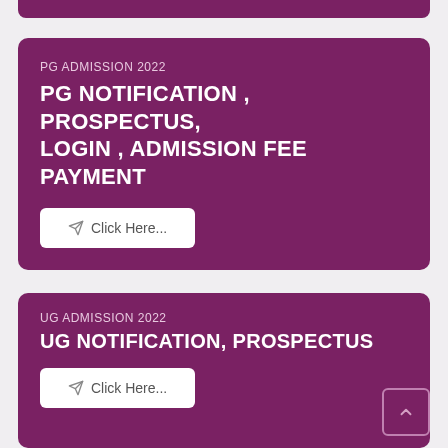PG ADMISSION 2022
PG NOTIFICATION , PROSPECTUS, LOGIN , ADMISSION FEE PAYMENT
Click Here...
UG ADMISSION 2022
UG NOTIFICATION, PROSPECTUS
Click Here...